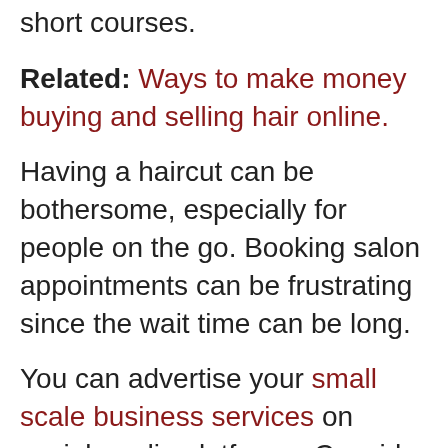short courses.
Related: Ways to make money buying and selling hair online.
Having a haircut can be bothersome, especially for people on the go. Booking salon appointments can be frustrating since the wait time can be long.
You can advertise your small scale business services on social media platforms. Consider making business cards that you can give away – the promotion is endless when you distribute